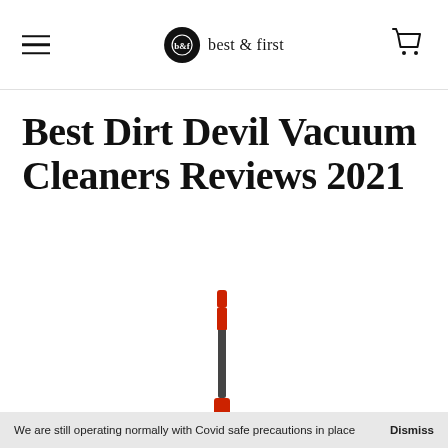best & first
Best Dirt Devil Vacuum Cleaners Reviews 2021
[Figure (photo): A red and black Dirt Devil upright/stick vacuum cleaner standing vertically, partially cut off at the bottom of the image.]
We are still operating normally with Covid safe precautions in place   Dismiss